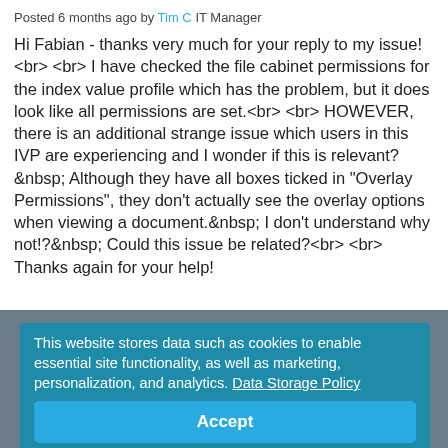Posted 6 months ago by Tim C IT Manager
Hi Fabian - thanks very much for your reply to my issue!<br> <br> I have checked the file cabinet permissions for the index value profile which has the problem, but it does look like all permissions are set.<br> <br> HOWEVER, there is an additional strange issue which users in this IVP are experiencing and I wonder if this is relevant?&nbsp; Although they have all boxes ticked in "Overlay Permissions", they don't actually see the overlay options when viewing a document.&nbsp; I don't understand why not!?&nbsp; Could this issue be related?<br> <br> Thanks again for your help!
This website stores data such as cookies to enable essential site functionality, as well as marketing, personalization, and analytics. Data Storage Policy
Accept
Deny